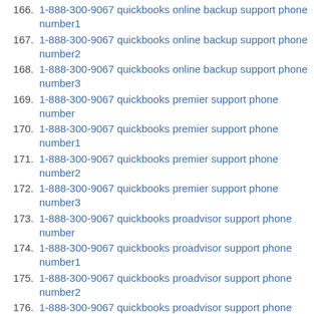166. 1-888-300-9067 quickbooks online backup support phone number1
167. 1-888-300-9067 quickbooks online backup support phone number2
168. 1-888-300-9067 quickbooks online backup support phone number3
169. 1-888-300-9067 quickbooks premier support phone number
170. 1-888-300-9067 quickbooks premier support phone number1
171. 1-888-300-9067 quickbooks premier support phone number2
172. 1-888-300-9067 quickbooks premier support phone number3
173. 1-888-300-9067 quickbooks proadvisor support phone number
174. 1-888-300-9067 quickbooks proadvisor support phone number1
175. 1-888-300-9067 quickbooks proadvisor support phone number2
176. 1-888-300-9067 quickbooks proadvisor support phone